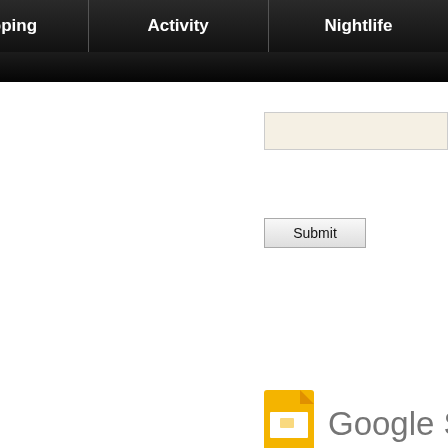[Figure (screenshot): Navigation bar with dark background showing tabs: Restaurants, Shopping, Activity, Nightlife. Below is a secondary dark bar. This is a cropped screenshot of a website UI.]
[Figure (screenshot): Input form field with beige/cream background, partially visible on right side]
Submit
[Figure (logo): Google Slides logo icon (yellow/orange document icon) with text 'Google Slid...' partially visible]
Sorry, unab...
Please...
[Figure (screenshot): Light blue box UI element, partially visible at bottom right]
Apps